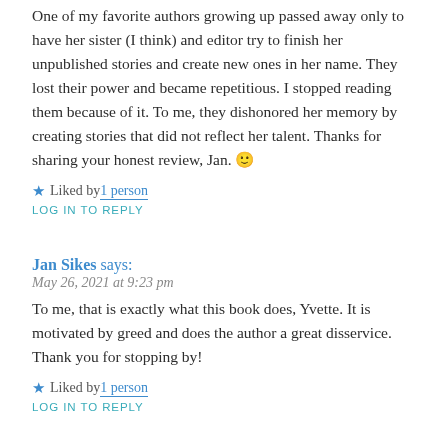One of my favorite authors growing up passed away only to have her sister (I think) and editor try to finish her unpublished stories and create new ones in her name. They lost their power and became repetitious. I stopped reading them because of it. To me, they dishonored her memory by creating stories that did not reflect her talent. Thanks for sharing your honest review, Jan. 🙂
★ Liked by 1 person
LOG IN TO REPLY
Jan Sikes says:
May 26, 2021 at 9:23 pm
To me, that is exactly what this book does, Yvette. It is motivated by greed and does the author a great disservice. Thank you for stopping by!
★ Liked by 1 person
LOG IN TO REPLY